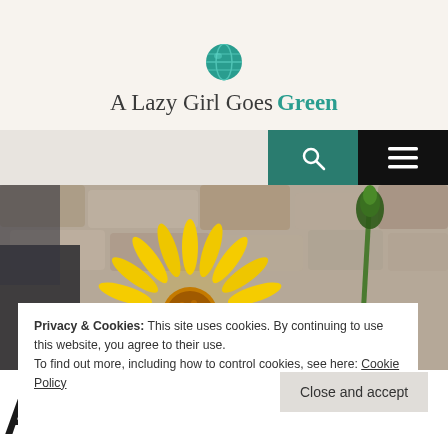A Lazy Girl Goes Green
[Figure (screenshot): Website navigation bar with search icon (teal background) and hamburger menu icon (black background)]
[Figure (photo): Close-up photo of a yellow daisy-like flower with a stone wall and green stem with bud in the background]
Privacy & Cookies: This site uses cookies. By continuing to use this website, you agree to their use. To find out more, including how to control cookies, see here: Cookie Policy
Close and accept
A VERY MODEST